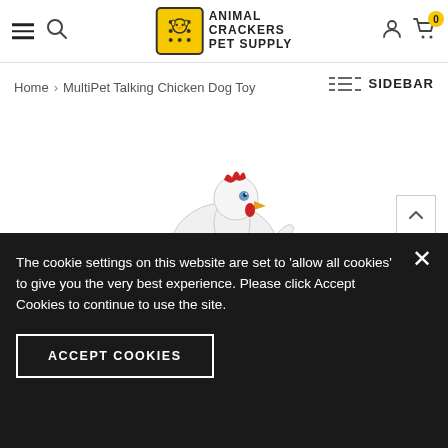[Figure (logo): Animal Crackers Pet Supply logo with yellow cracker box icon and bold text]
Home › MultiPet Talking Chicken Dog Toy
SIDEBAR
[Figure (photo): MultiPet Talking Chicken Dog Toy - white and black spotted plush chicken with red comb and yellow beak]
The cookie settings on this website are set to 'allow all cookies' to give you the very best experience. Please click Accept Cookies to continue to use the site.
ACCEPT COOKIES